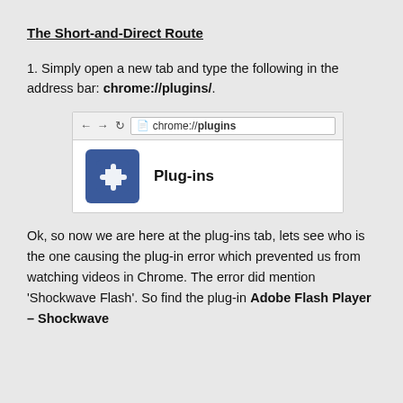The Short-and-Direct Route
1. Simply open a new tab and type the following in the address bar: chrome://plugins/.
[Figure (screenshot): Screenshot of Chrome browser showing the address bar with 'chrome://plugins' typed in, and the Plug-ins page with a puzzle piece icon and the heading 'Plug-ins'.]
Ok, so now we are here at the plug-ins tab, lets see who is the one causing the plug-in error which prevented us from watching videos in Chrome. The error did mention 'Shockwave Flash'. So find the plug-in Adobe Flash Player – Shockwave